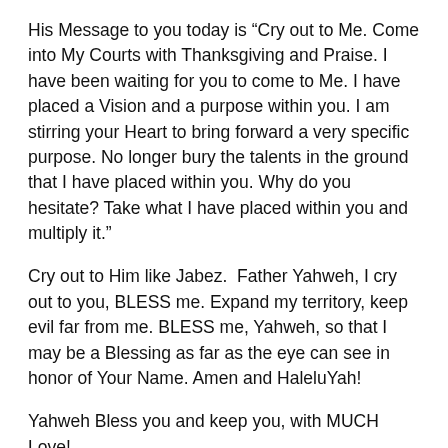His Message to you today is “Cry out to Me. Come into My Courts with Thanksgiving and Praise. I have been waiting for you to come to Me. I have placed a Vision and a purpose within you. I am stirring your Heart to bring forward a very specific purpose. No longer bury the talents in the ground that I have placed within you. Why do you hesitate? Take what I have placed within you and multiply it.”
Cry out to Him like Jabez.  Father Yahweh, I cry out to you, BLESS me. Expand my territory, keep evil far from me. BLESS me, Yahweh, so that I may be a Blessing as far as the eye can see in honor of Your Name. Amen and HaleluYah!
Yahweh Bless you and keep you, with MUCH Love!